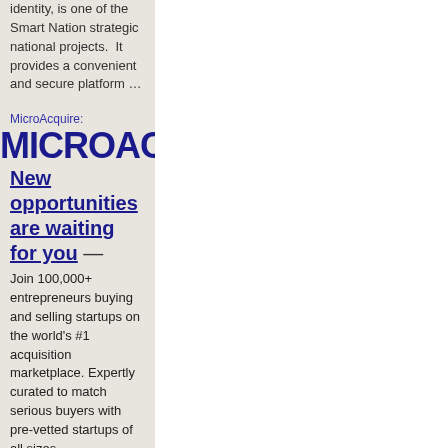identity, is one of the Smart Nation strategic national projects.  It provides a convenient and secure platform …
MicroAcquire:
MICROACQUIRE
New opportunities are waiting for you — Join 100,000+ entrepreneurs buying and selling startups on the world's #1 acquisition marketplace. Expertly curated to match serious buyers with pre-vetted startups of all sizes.